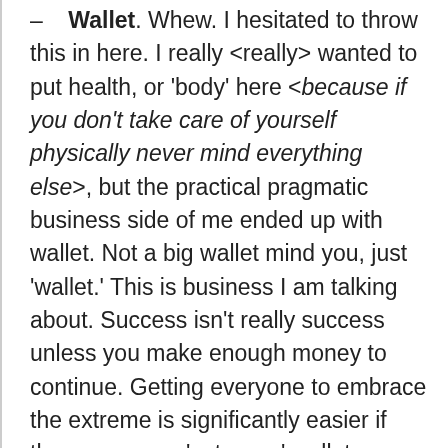– Wallet. Whew. I hesitated to throw this in here. I really <really> wanted to put health, or 'body' here <because if you don't take care of yourself physically never mind everything else>, but the practical pragmatic business side of me ended up with wallet. Not a big wallet mind you, just 'wallet.' This is business I am talking about. Success isn't really success unless you make enough money to continue. Getting everyone to embrace the extreme is significantly easier if they see some 'extremer' wallet benefit. It doesn't have to be gobs of money so this is more